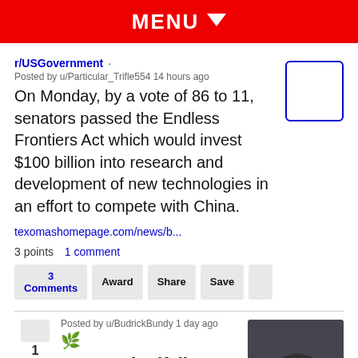MENU
r/USGovernment · Posted by u/Particular_Trifle554 14 hours ago
On Monday, by a vote of 86 to 11, senators passed the Endless Frontiers Act which would invest $100 billion into research and development of new technologies in an effort to compete with China.
texomashomepage.com/news/b...
3 points  1 comment
3 Comments  Award  Share  Save
Posted by u/BudrickBundy 1 day ago
Strange bedfellows: UFOs are uniting Trump's fiercest critics, loyalists
thehill.com/opinio...
[Figure (photo): Dark UFO/aerial footage thumbnail image]